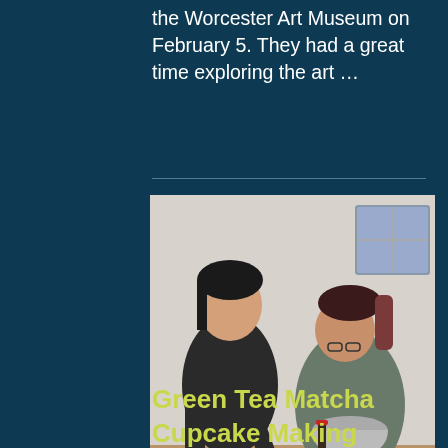the Worcester Art Museum on February 5. They had a great time exploring the art …
[Figure (photo): Two young women making matcha cupcakes in a kitchen. One woman in a black hoodie stands smiling on the left, while the other woman in a gray hoodie leans over a large mixing bowl containing green tea matcha mixture on a wooden table. A red cup and mixing bowls are visible.]
Green Tea Matcha Cupcake Making